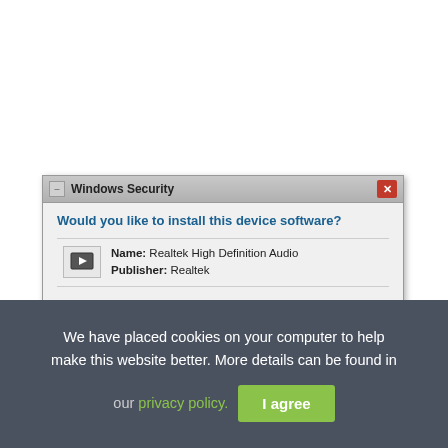[Figure (screenshot): Windows Security dialog box asking 'Would you like to install this device software?' with Name: Realtek High Definition Audio and Publisher: Realtek, showing Install and Don't Install buttons with a red arrow pointing to the Install button. Below is a cookie consent banner saying 'We have placed cookies on your computer to help make this website better. More details can be found in our privacy policy.' with an 'I agree' button.]